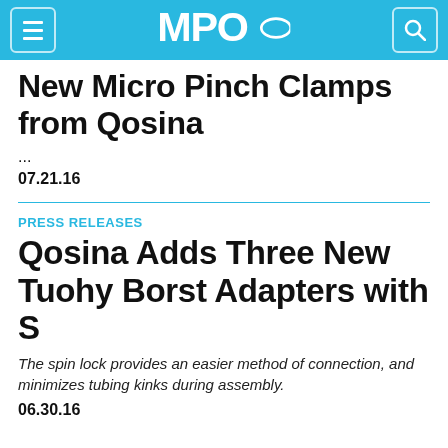MPO
New Micro Pinch Clamps from Qosina
...
07.21.16
PRESS RELEASES
Qosina Adds Three New Tuohy Borst Adapters with S
The spin lock provides an easier method of connection, and minimizes tubing kinks during assembly.
06.30.16